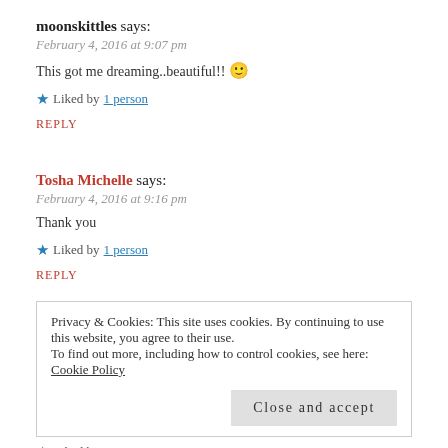moonskittles says:
February 4, 2016 at 9:07 pm
This got me dreaming..beautiful!! 🙂
Liked by 1 person
REPLY
Tosha Michelle says:
February 4, 2016 at 9:16 pm
Thank you
Liked by 1 person
REPLY
Privacy & Cookies: This site uses cookies. By continuing to use this website, you agree to their use.
To find out more, including how to control cookies, see here: Cookie Policy
Close and accept
Liked by 1 person